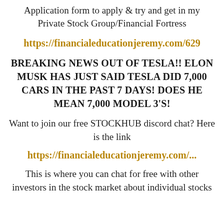Application form to apply & try and get in my Private Stock Group/Financial Fortress
https://financialeducationjeremy.com/629
BREAKING NEWS OUT OF TESLA!! ELON MUSK HAS JUST SAID TESLA DID 7,000 CARS IN THE PAST 7 DAYS! DOES HE MEAN 7,000 MODEL 3'S!
Want to join our free STOCKHUB discord chat? Here is the link
https://financialeducationjeremy.com/...
This is where you can chat for free with other investors in the stock market about individual stocks